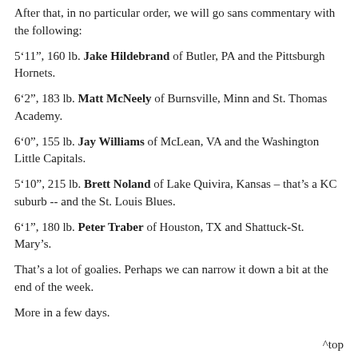After that, in no particular order, we will go sans commentary with the following:
5’9”, 160 lb. Jake Hildebrand of Butler, PA and the Pittsburgh Hornets.
6’2”, 183 lb. Matt McNeely of Burnsville, Minn and St. Thomas Academy.
6’0”, 155 lb. Jay Williams of McLean, VA and the Washington Little Capitals.
5’10”, 215 lb. Brett Noland of Lake Quivira, Kansas – that’s a KC suburb -- and the St. Louis Blues.
6’1”, 180 lb. Peter Traber of Houston, TX and Shattuck-St. Mary’s.
That’s a lot of goalies. Perhaps we can narrow it down a bit at the end of the week.
More in a few days.
^top